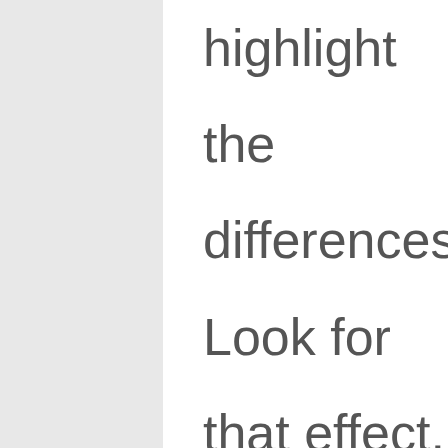highlight the differences. Look for that effect, just more subtle, in your exerci